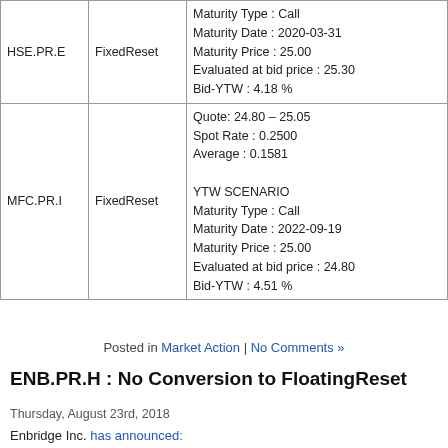|  |  |  |
| --- | --- | --- |
| HSE.PR.E | FixedReset | Maturity Type : Call
Maturity Date : 2020-03-31
Maturity Price : 25.00
Evaluated at bid price : 25.30
Bid-YTW : 4.18 % |
| MFC.PR.I | FixedReset | Quote: 24.80 – 25.05
Spot Rate : 0.2500
Average : 0.1581

YTW SCENARIO
Maturity Type : Call
Maturity Date : 2022-09-19
Maturity Price : 25.00
Evaluated at bid price : 24.80
Bid-YTW : 4.51 % |
Posted in Market Action | No Comments »
ENB.PR.H : No Conversion to FloatingReset
Thursday, August 23rd, 2018
Enbridge Inc. has announced:
that none of Enbridge's outstanding Cumulative Redeema...